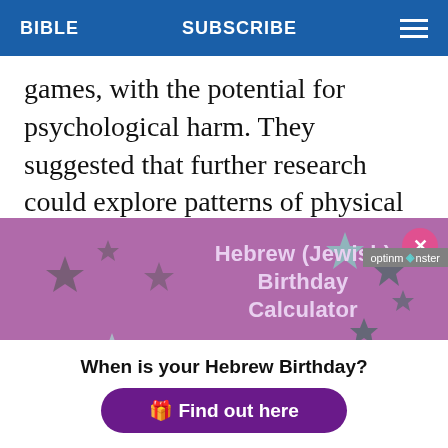BIBLE   SUBSCRIBE
games, with the potential for psychological harm. They suggested that further research could explore patterns of physical and symbolic
[Figure (screenshot): OptinMonster popup overlay featuring 'Hebrew (Jewish) Birthday Calculator' with decorative stars on a purple background, a close button, text 'When is your Hebrew Birthday?' and a 'Find out here' button]
When is your Hebrew Birthday?
Find out here